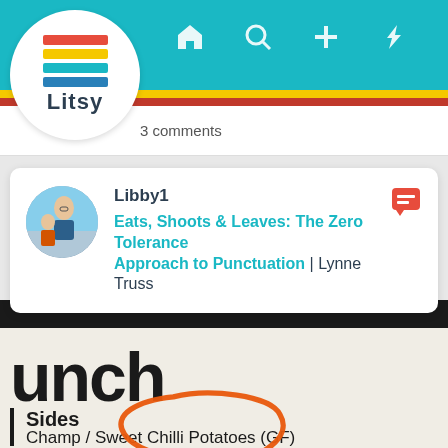[Figure (screenshot): Litsy app screenshot showing navigation bar with teal background, Litsy logo (stack of books), home, search, plus, lightning, and profile icons]
3 comments
[Figure (screenshot): Litsy post card showing user Libby1 with avatar photo, book title 'Eats, Shoots & Leaves: The Zero Tolerance Approach to Punctuation' by Lynne Truss, with red comment icon]
[Figure (photo): Photo of a restaurant menu showing partial word 'unch' (lunch), with 'Sides' section heading and 'Champ / Sweet Chilli Potatoes (GF)' with an orange hand-drawn circle annotation around the word 'Sides']